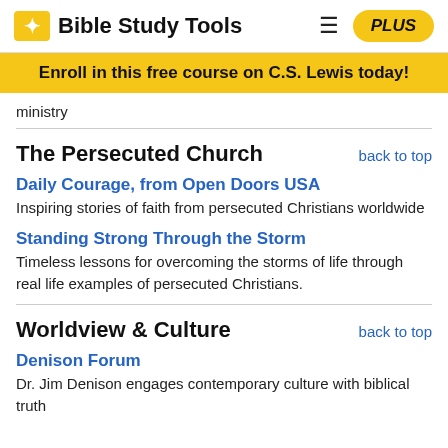Bible Study Tools | PLUS
Enroll in this free course on C.S. Lewis today!
ministry
The Persecuted Church
back to top
Daily Courage, from Open Doors USA
Inspiring stories of faith from persecuted Christians worldwide
Standing Strong Through the Storm
Timeless lessons for overcoming the storms of life through real life examples of persecuted Christians.
Worldview & Culture
back to top
Denison Forum
Dr. Jim Denison engages contemporary culture with biblical truth